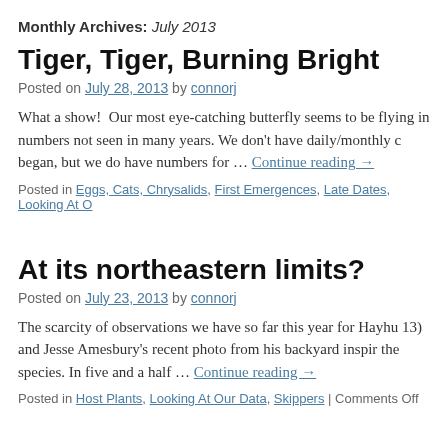Monthly Archives: July 2013
Tiger, Tiger, Burning Bright
Posted on July 28, 2013 by connorj
What a show!  Our most eye-catching butterfly seems to be flying in numbers not seen in many years. We don't have daily/monthly c began, but we do have numbers for … Continue reading →
Posted in Eggs, Cats, Chrysalids, First Emergences, Late Dates, Looking At O
At its northeastern limits?
Posted on July 23, 2013 by connorj
The scarcity of observations we have so far this year for Hayhu 13) and Jesse Amesbury's recent photo from his backyard inspir the species. In five and a half … Continue reading →
Posted in Host Plants, Looking At Our Data, Skippers | Comments Off